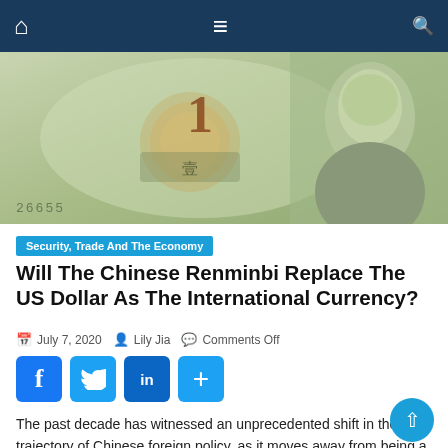Navigation bar with home, menu, and search icons
[Figure (photo): Close-up photograph of a Chinese Renminbi (yuan) banknote showing the number 1 and Mao Zedong's portrait, serial number 26655 visible at bottom left]
Security, Trade And The Economy
Will The Chinese Renminbi Replace The US Dollar As The International Currency?
July 7, 2020  Lily Jia  Comments Off
[Figure (infographic): Social sharing buttons: Facebook, Twitter, LinkedIn, and share (plus) button]
The past decade has witnessed an unprecedented shift in the trajectory of Chinese foreign policy, as it moves away from being a low-key figure animated by its traditionally